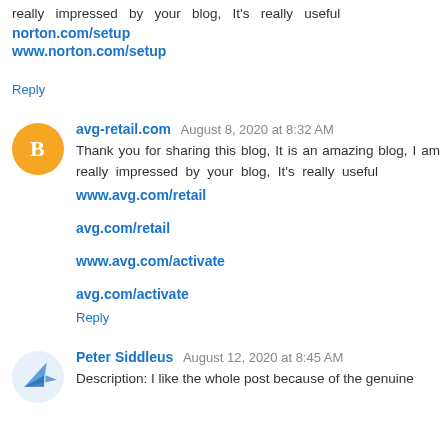really impressed by your blog, It's really useful
norton.com/setup
www.norton.com/setup
Reply
avg-retail.com  August 8, 2020 at 8:32 AM
Thank you for sharing this blog, It is an amazing blog, I am really impressed by your blog, It's really useful
www.avg.com/retail
avg.com/retail
www.avg.com/activate
avg.com/activate
Reply
Peter Siddleus  August 12, 2020 at 8:45 AM
Description: I like the whole post because of the genuine